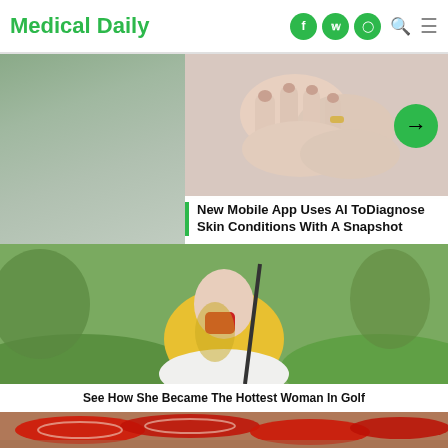Medical Daily
[Figure (screenshot): Hands with a skin condition being examined, and a golf photo below, on Medical Daily website]
New Mobile App Uses AI ToDiagnose Skin Conditions With A Snapshot
See How She Became The Hottest Woman In Golf
[Figure (photo): Red bell peppers sliced on a wooden board]